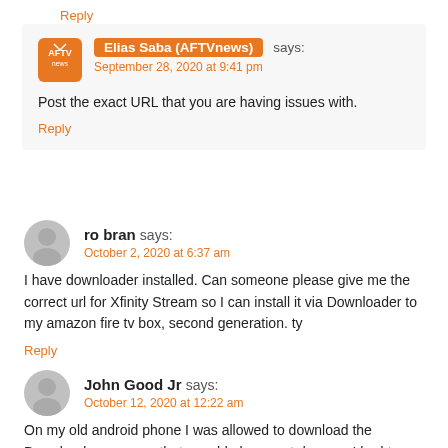Reply
Elias Saba (AFTVnews) says:
September 28, 2020 at 9:41 pm
Post the exact URL that you are having issues with.
Reply
ro bran says:
October 2, 2020 at 6:37 am
I have downloader installed. Can someone please give me the correct url for Xfinity Stream so I can install it via Downloader to my amazon fire tv box, second generation. ty
Reply
John Good Jr says:
October 12, 2020 at 12:22 am
On my old android phone I was allowed to download the Downloader app now that my old phone got damage I had to buy